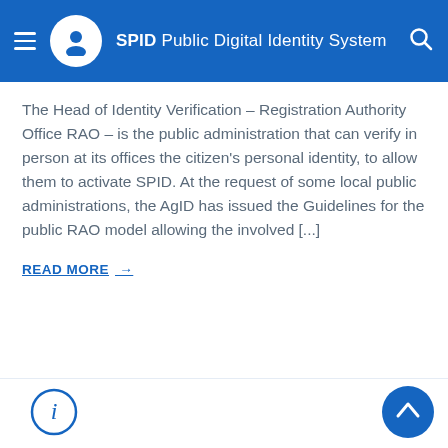SPID Public Digital Identity System
The Head of Identity Verification – Registration Authority Office RAO – is the public administration that can verify in person at its offices the citizen's personal identity, to allow them to activate SPID. At the request of some local public administrations, the AgID has issued the Guidelines for the public RAO model allowing the involved [...]
READ MORE →
[Figure (illustration): Info circle icon (i) at bottom left, and blue circular back-to-top arrow button at bottom right]